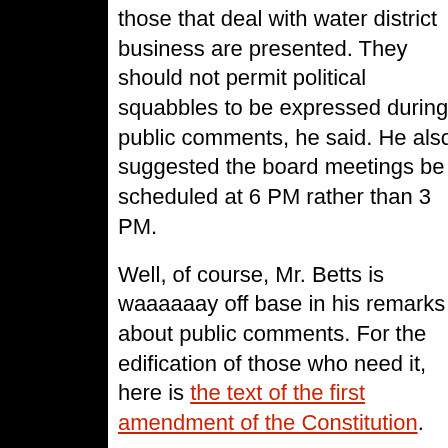those that deal with water district business are presented. They should not permit political squabbles to be expressed during public comments, he said. He also suggested the board meetings be scheduled at 6 PM rather than 3 PM.
Well, of course, Mr. Betts is waaaaaay off base in his remarks about public comments. For the edification of those who need it, here is the text of the first amendment of the Constitution.
Congress shall